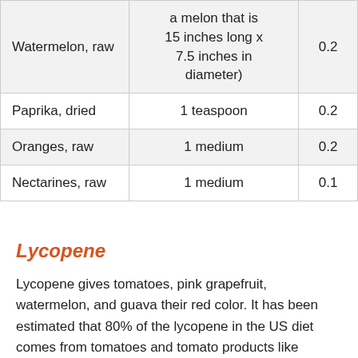| Watermelon, raw | a melon that is 15 inches long x 7.5 inches in diameter) | 0.2 |
| Paprika, dried | 1 teaspoon | 0.2 |
| Oranges, raw | 1 medium | 0.2 |
| Nectarines, raw | 1 medium | 0.1 |
Lycopene
Lycopene gives tomatoes, pink grapefruit, watermelon, and guava their red color. It has been estimated that 80% of the lycopene in the US diet comes from tomatoes and tomato products like tomato sauce, tomato paste, and ketchup (catsup) (149). Lycopene is not a provitamin A carotenoid because it cannot be converted to retinol. Some foods that are good sources